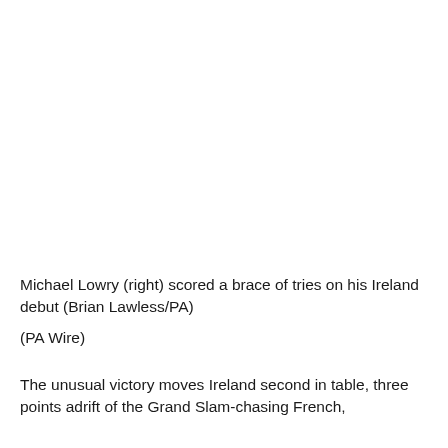[Figure (photo): Photo area (blank/white) — image of Michael Lowry on his Ireland debut]
Michael Lowry (right) scored a brace of tries on his Ireland debut (Brian Lawless/PA)
(PA Wire)
The unusual victory moves Ireland second in table, three points adrift of the Grand Slam-chasing French,